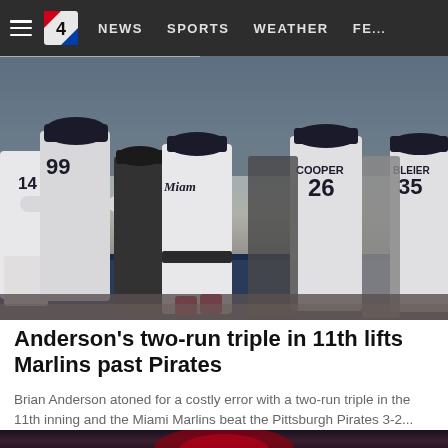NEWS  SPORTS  WEATHER  FE...
[Figure (photo): Miami Marlins players celebrating on the field, wearing white uniforms. Visible jersey numbers include 99 (back), 26 COOPER, 35 BLEIER, and 14. Players are seen from behind and side views during a post-game celebration.]
Anderson's two-run triple in 11th lifts Marlins past Pirates
Brian Anderson atoned for a costly error with a two-run triple in the 11th inning and the Miami Marlins beat the Pittsburgh Pirates 3-2...
[Figure (photo): A baseball batter in a red uniform at the plate, partial view at bottom of page.]